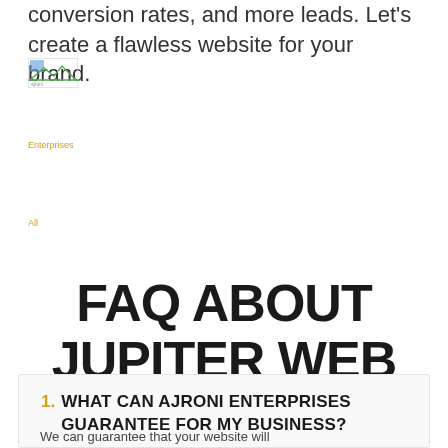conversion rates, and more leads. Let's create a flawless website for your brand.
[Figure (other): Broken image placeholder with small icon]
Enterprises
All
FAQ ABOUT JUPITER WEB DESIGN.
1. WHAT CAN AJRONI ENTERPRISES GUARANTEE FOR MY BUSINESS?
We can guarantee that your website will